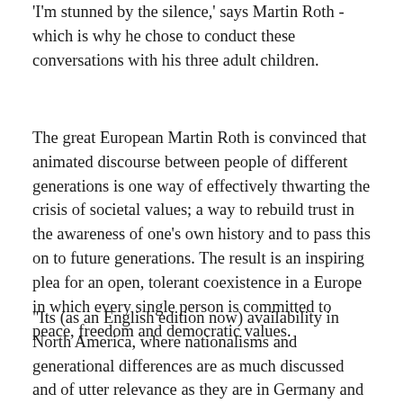'I'm stunned by the silence,' says Martin Roth - which is why he chose to conduct these conversations with his three adult children.
The great European Martin Roth is convinced that animated discourse between people of different generations is one way of effectively thwarting the crisis of societal values; a way to rebuild trust in the awareness of one's own history and to pass this on to future generations. The result is an inspiring plea for an open, tolerant coexistence in a Europe in which every single person is committed to peace, freedom and democratic values.
"Its (as an English edition now) availability in North America, where nationalisms and generational differences are as much discussed and of utter relevance as they are in Germany and Europe, the publication seems only fitting. With the translation, we hope to achieve the initial goal of the book's family-based discussions; to make these topics part of